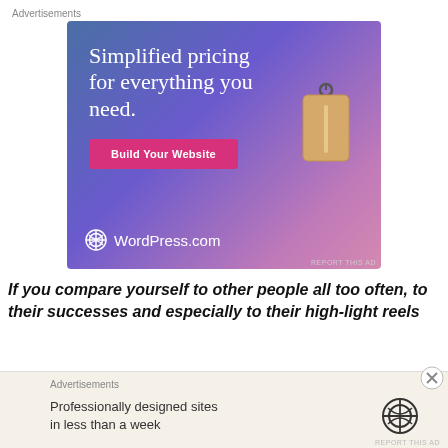Advertisements
[Figure (illustration): WordPress.com advertisement banner with gradient blue-purple-pink background. Text reads 'Simplified pricing for everything you need.' with a pink 'Build Your Website' button, a price tag illustration, and WordPress.com logo at the bottom.]
REPORT THIS AD
If you compare yourself to other people all too often, to their successes and especially to their high-light reels
Advertisements
[Figure (illustration): WordPress.com small advertisement banner with beige background. Text reads 'Professionally designed sites in less than a week' with WordPress logo icon on the right.]
REPORT THIS AD